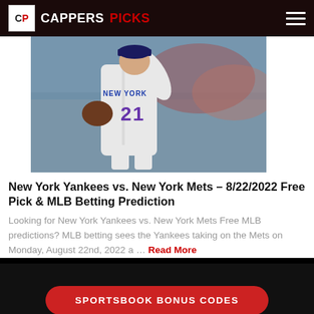CAPPERS PICKS
[Figure (photo): New York Mets pitcher in uniform number 21, mid-pitch delivery in a game setting with crowd in background]
New York Yankees vs. New York Mets – 8/22/2022 Free Pick & MLB Betting Prediction
Looking for New York Yankees vs. New York Mets Free MLB predictions? MLB betting sees the Yankees taking on the Mets on Monday, August 22nd, 2022 a … Read More
SPORTSBOOK BONUS CODES